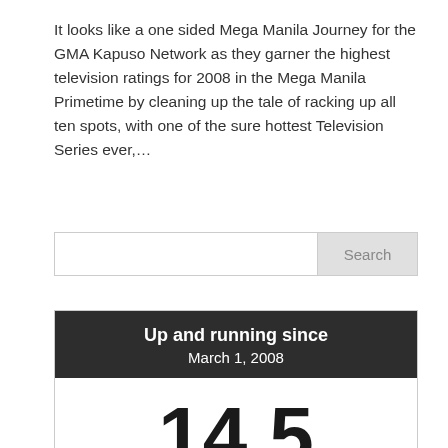It looks like a one sided Mega Manila Journey for the GMA Kapuso Network as they garner the highest television ratings for 2008 in the Mega Manila Primetime by cleaning up the tale of racking up all ten spots, with one of the sure hottest Television Series ever,...
[Figure (other): Search bar with input field and Search button]
| Up and running since | March 1, 2008 |
| 14.5 | years ago. |